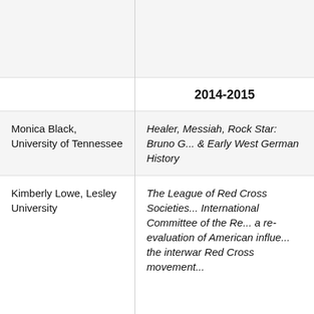| Recipient | Project Title |
| --- | --- |
|  | 2014-2015 |
| Monica Black, University of Tennessee | Healer, Messiah, Rock Star: Bruno G... & Early West German History |
| Kimberly Lowe, Lesley University | The League of Red Cross Societies... International Committee of the Re... a re-evaluation of American influe... the interwar Red Cross movement... |
| Jeffry Diefendorf, University of New... | The Past is not a Foreign Country:... History as Engagement between P... |